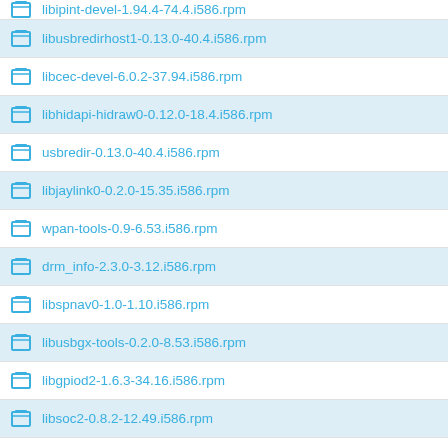libipint-devel-1.94.4-74.4.i586.rpm
libusbredirhost1-0.13.0-40.4.i586.rpm
libcec-devel-6.0.2-37.94.i586.rpm
libhidapi-hidraw0-0.12.0-18.4.i586.rpm
usbredir-0.13.0-40.4.i586.rpm
libjaylink0-0.2.0-15.35.i586.rpm
wpan-tools-0.9-6.53.i586.rpm
drm_info-2.3.0-3.12.i586.rpm
libspnav0-1.0-1.10.i586.rpm
libusbgx-tools-0.2.0-8.53.i586.rpm
libgpiod2-1.6.3-34.16.i586.rpm
libsoc2-0.8.2-12.49.i586.rpm
ddccontrol-0.4.2+20140105+git9d89d8c-14.46.i586.rpm
python-evfo-2.2p2-4.60.i586.rpm